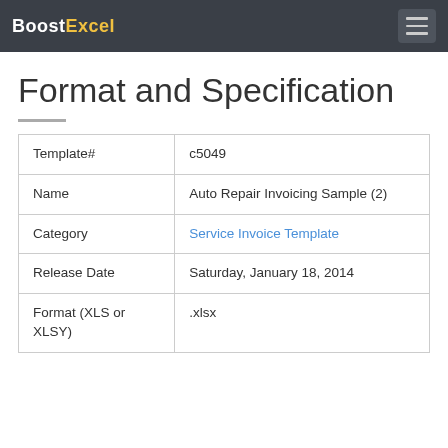BoostExcel
Format and Specification
| Template# | c5049 |
| Name | Auto Repair Invoicing Sample (2) |
| Category | Service Invoice Template |
| Release Date | Saturday, January 18, 2014 |
| Format (XLS or XLSY) | .xlsx |